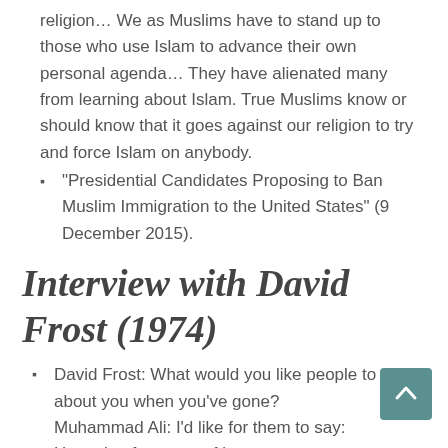religion… We as Muslims have to stand up to those who use Islam to advance their own personal agenda… They have alienated many from learning about Islam. True Muslims know or should know that it goes against our religion to try and force Islam on anybody.
“Presidential Candidates Proposing to Ban Muslim Immigration to the United States” (9 December 2015).
Interview with David Frost (1974)
David Frost: What would you like people to think about you when you’ve gone?
Muhammad Ali: I’d like for them to say:
He took a few cups of love.
He took one tablespoon of patience,